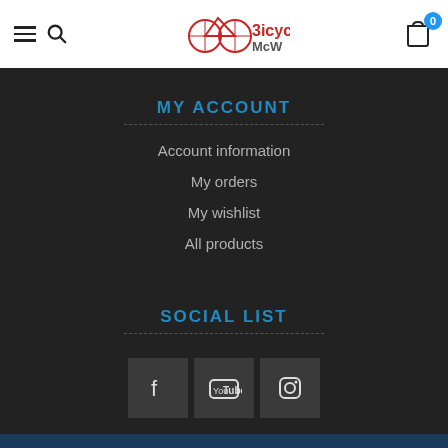Bicycles McW — navigation header with hamburger menu, search, logo, and cart icon with badge 0
MY ACCOUNT
Account information
My orders
My wishlist
All products
SOCIAL LIST
[Figure (other): Social media icons: Facebook, YouTube, Instagram in dark square boxes]